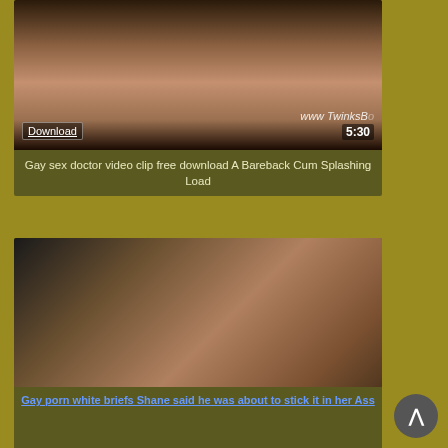[Figure (photo): Video thumbnail for first card]
Gay sex doctor video clip free download A Bareback Cum Splashing Load
[Figure (photo): Video thumbnail for second card]
Puto Gay Travesti de tuxtla chiapas con ganas de sexo y el marido la complace
[Figure (photo): Third video link image with text: Gay porn white briefs Shane said he was about to stick it in her Ass]